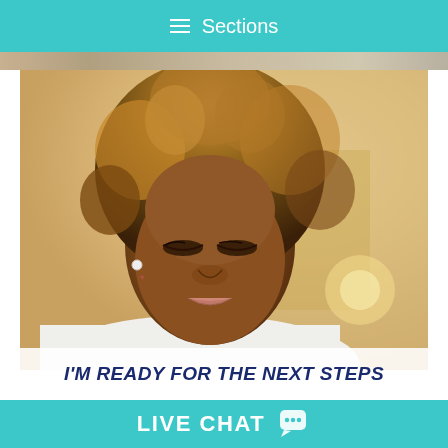≡ Sections
[Figure (photo): Close-up photo of a young Black woman with natural curly hair, looking downward with a slight smile, wearing a white top, with a warm blurred background]
I'M READY FOR THE NEXT STEPS
LIVE CHAT